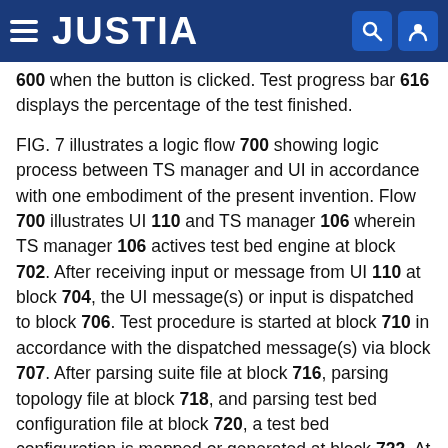JUSTIA
600 when the button is clicked. Test progress bar 616 displays the percentage of the test finished.

FIG. 7 illustrates a logic flow 700 showing logic process between TS manager and UI in accordance with one embodiment of the present invention. Flow 700 illustrates UI 110 and TS manager 106 wherein TS manager 106 actives test bed engine at block 702. After receiving input or message from UI 110 at block 704, the UI message(s) or input is dispatched to block 706. Test procedure is started at block 710 in accordance with the dispatched message(s) via block 707. After parsing suite file at block 716, parsing topology file at block 718, and parsing test bed configuration file at block 720, a test bed configuration is mapped or generated at block 722. At block 724, the test procedures are executed. After execution, a report, at block 726, is generated and